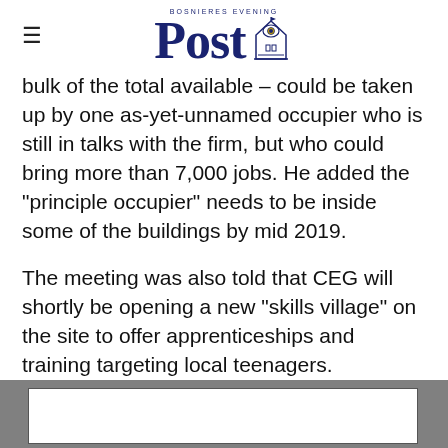BOSNIERES EVENING Post [logo with emblem]
bulk of the total available – could be taken up by one as-yet-unnamed occupier who is still in talks with the firm, but who could bring more than 7,000 jobs. He added the “principle occupier” needs to be inside some of the buildings by mid 2019.
The meeting was also told that CEG will shortly be opening a new “skills village” on the site to offer apprenticeships and training targeting local teenagers.